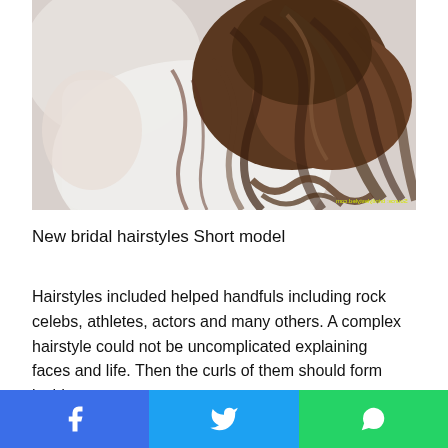[Figure (photo): Woman in white top with long curly brown hair styled in a loose ponytail, photographed from behind. Watermark text visible at bottom right.]
New bridal hairstyles Short model
Hairstyles included helped handfuls including rock celebs, athletes, actors and many others. A complex hairstyle could not be uncomplicated explaining faces and life. Then the curls of them should form inside.
Facebook share | Twitter share | WhatsApp share